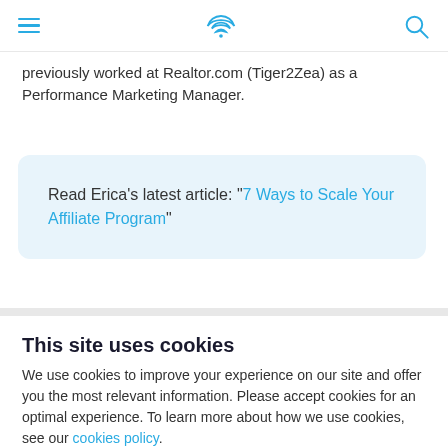Navigation header with hamburger menu, wifi logo, and search icon
previously worked at Realtor.com (Tiger2Zea) as a Performance Marketing Manager.
Read Erica's latest article: "7 Ways to Scale Your Affiliate Program"
This site uses cookies
We use cookies to improve your experience on our site and offer you the most relevant information. Please accept cookies for an optimal experience. To learn more about how we use cookies, see our cookies policy.
ACCEPT
DECLINE